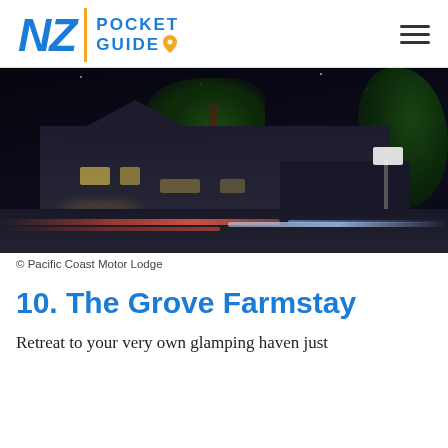NZ POCKET GUIDE
[Figure (photo): Night photo of Pacific Coast Motor Lodge, showing illuminated building with palm tree and light streaks from passing cars on the road]
© Pacific Coast Motor Lodge
10. The Grove Farmstay
Retreat to your very own glamping haven just